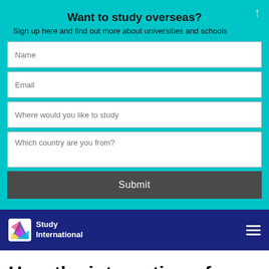Want to study overseas?
Sign up here and find out more about universities and schools
[Figure (screenshot): Web form with four fields: Name, Email, Where would you like to study, Which country are you from?, and a Submit button]
[Figure (logo): Study International logo with colorful S icon on dark blue navigation bar with hamburger menu]
How the integration of new